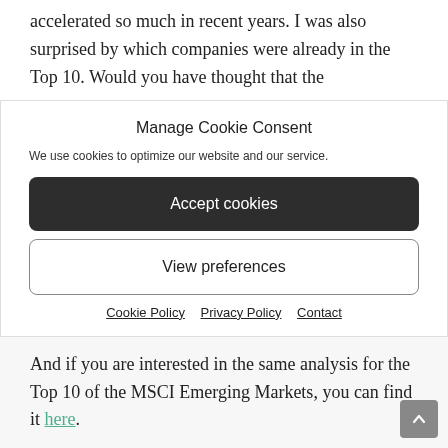accelerated so much in recent years. I was also surprised by which companies were already in the Top 10. Would you have thought that the
Manage Cookie Consent
We use cookies to optimize our website and our service.
Accept cookies
View preferences
Cookie Policy   Privacy Policy   Contact
And if you are interested in the same analysis for the Top 10 of the MSCI Emerging Markets, you can find it here.